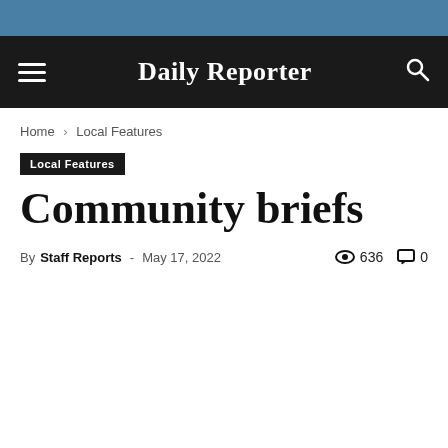Daily Reporter
Home › Local Features
Local Features
Community briefs
By Staff Reports - May 17, 2022  636  0